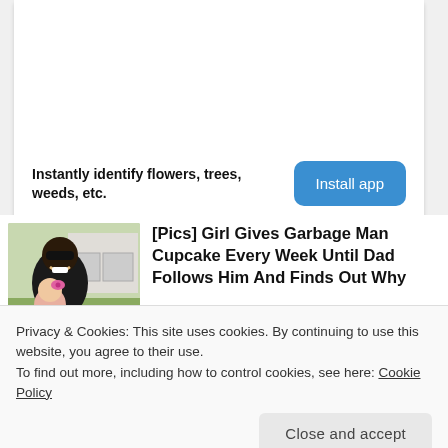[Figure (other): Advertisement card with blank white space and app install prompt. Bold text reads 'Instantly identify flowers, trees, weeds, etc.' with a blue 'Install app' button.]
Instantly identify flowers, trees, weeds, etc.
[Figure (photo): Photo of a man with sunglasses smiling with a small girl wearing a pink bow, outdoors near a house.]
[Pics] Girl Gives Garbage Man Cupcake Every Week Until Dad Follows Him And Finds Out Why
Privacy & Cookies: This site uses cookies. By continuing to use this website, you agree to their use.
To find out more, including how to control cookies, see here: Cookie Policy
Close and accept
Elizabeth Banks, Wunmi Mosak...